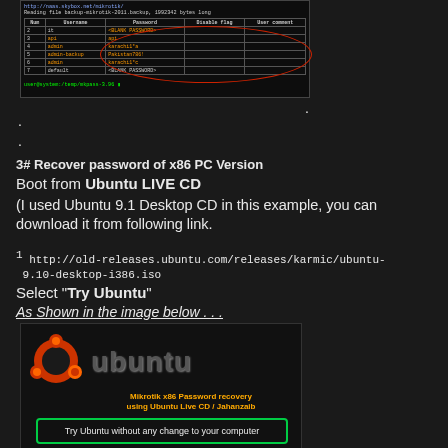[Figure (screenshot): Terminal screenshot showing Mikrotik password backup file with usernames and passwords in a table format, with some rows highlighted in a red oval]
.
.
3# Recover password of x86 PC Version
Boot from Ubuntu LIVE CD
(I used Ubuntu 9.1 Desktop CD in this example, you can download it from following link.
1 http://old-releases.ubuntu.com/releases/karmic/ubuntu-9.10-desktop-i386.iso
Select “Try Ubuntu”
As Shown in the image below . . .
[Figure (screenshot): Ubuntu Live CD boot screen showing the Ubuntu logo and 'Try Ubuntu without any change to your computer' button]